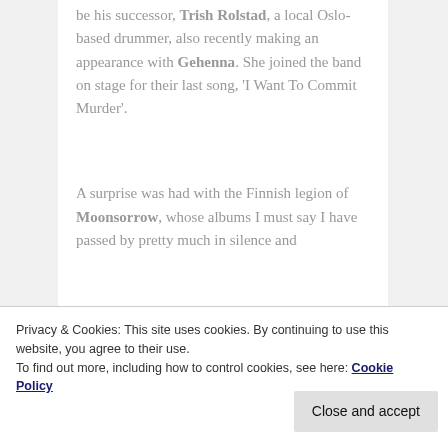be his successor, Trish Rolstad, a local Oslo-based drummer, also recently making an appearance with Gehenna. She joined the band on stage for their last song, 'I Want To Commit Murder'.
A surprise was had with the Finnish legion of Moonsorrow, whose albums I must say I have passed by pretty much in silence and
helmets – the ones with historically incorrect
Privacy & Cookies: This site uses cookies. By continuing to use this website, you agree to their use.
To find out more, including how to control cookies, see here: Cookie Policy
Close and accept